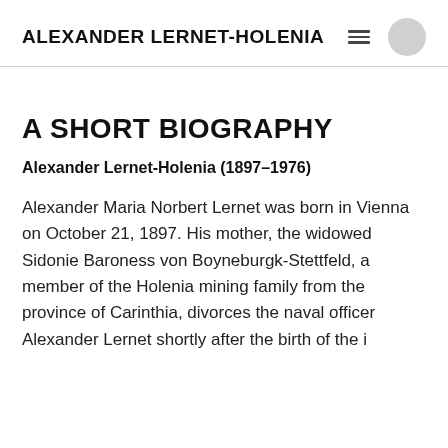ALEXANDER LERNET-HOLENIA
A SHORT BIOGRAPHY
Alexander Lernet-Holenia (1897–1976)
Alexander Maria Norbert Lernet was born in Vienna on October 21, 1897. His mother, the widowed Sidonie Baroness von Boyneburgk-Stettfeld, a member of the Holenia mining family from the province of Carinthia, divorces the naval officer Alexander Lernet shortly after the birth of the i…